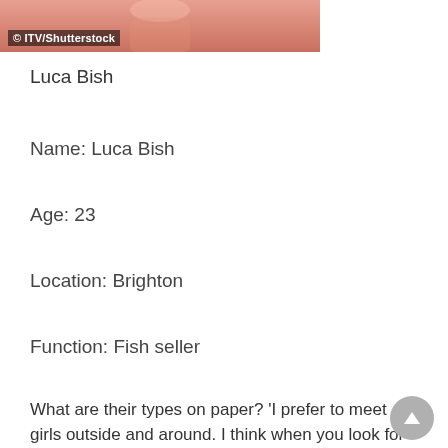[Figure (photo): Partial photo of Luca Bish with pink/salmon background, ITV/Shutterstock watermark]
© ITV/Shutterstock
Luca Bish
Name: Luca Bish
Age: 23
Location: Brighton
Function: Fish seller
What are their types on paper? 'I prefer to meet girls outside and around. I think when you look for it, it's not easy though, it's like you crave it so much.
'If I think you are or I love you, I will take you to an appointment but more than that, if we talk and I do not